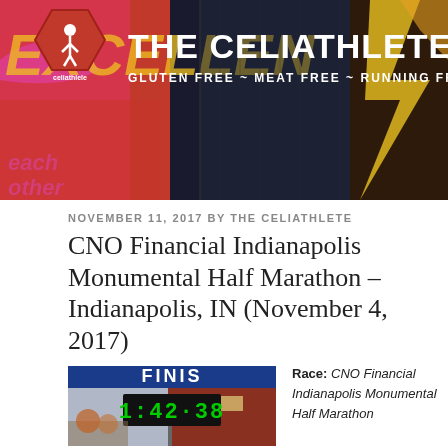[Figure (photo): Website header banner for The Celiathlete blog with colorful graffiti background, red hexagon logo, site title and tagline]
THE CELIATHLETE — GLUTEN FREE ~ MEAT FREE ~ RUNNING FREE
NOVEMBER 11, 2017 BY THE CELIATHLETE
CNO Financial Indianapolis Monumental Half Marathon – Indianapolis, IN (November 4, 2017)
[Figure (photo): Finish line photo showing a race clock displaying 1:42:38 with a blue FINISH banner overhead]
Race: CNO Financial Indianapolis Monumental Half Marathon